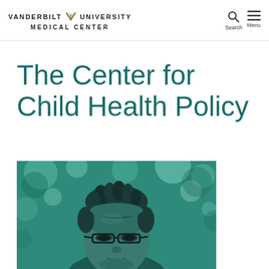VANDERBILT UNIVERSITY MEDICAL CENTER — Search | Menu
The Center for Child Health Policy
[Figure (photo): Black and white teal-duotone portrait photo of a woman with natural twisted hair and glasses, looking slightly upward, with a blurred outdoor background.]